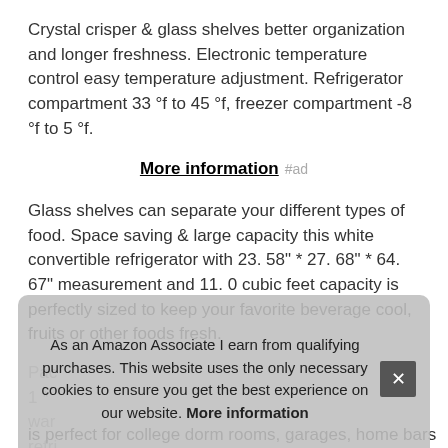Crystal crisper & glass shelves better organization and longer freshness. Electronic temperature control easy temperature adjustment. Refrigerator compartment 33 °f to 45 °f, freezer compartment -8 °f to 5 °f.
More information #ad
Glass shelves can separate your different types of food. Space saving & large capacity this white convertible refrigerator with 23. 58" * 27. 68" * 64. 67" measurement and 11. 0 cubic feet capacity is perfectly sized to keep your favorite beverage cool, fruits or other foods fresh.
Pac... 1 * ... war... refri... see... is perfect for college dorm rooms, garages, home bars
As an Amazon Associate I earn from qualifying purchases. This website uses the only necessary cookies to ensure you get the best experience on our website. More information